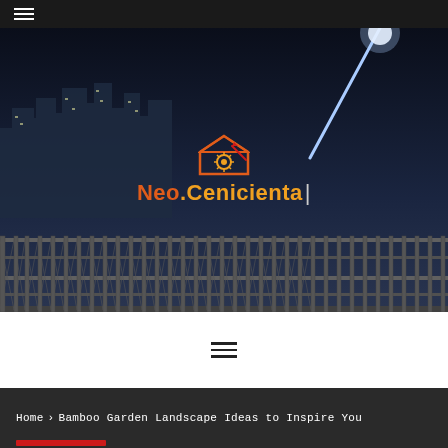≡ (hamburger menu icon)
[Figure (photo): Night cityscape with bridge railing in foreground, city skyline with lit buildings in background, large street lamp curving overhead, dark blue/grey tones]
Neo Cenicienta
[Figure (infographic): Hamburger menu icon (three horizontal lines) centered in white bar]
Home > Bamboo Garden Landscape Ideas to Inspire You